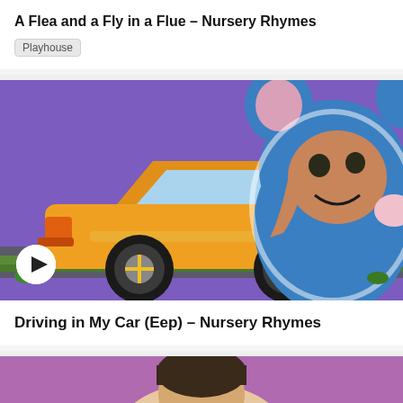A Flea and a Fly in a Flue – Nursery Rhymes
Playhouse
[Figure (photo): Child wearing a blue mouse costume pointing one finger upward, next to a cartoon yellow convertible car on a purple/green background. A white circular play button is visible in the bottom left.]
Driving in My Car (Eep) – Nursery Rhymes
[Figure (photo): Partial view of a person against a purple background, only the top of their head and face visible at the bottom of the page.]